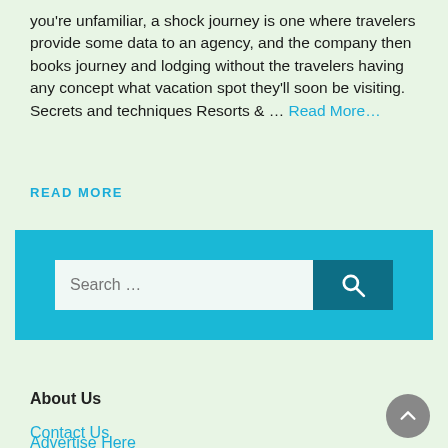you're unfamiliar, a shock journey is one where travelers provide some data to an agency, and the company then books journey and lodging without the travelers having any concept what vacation spot they'll soon be visiting. Secrets and techniques Resorts & … Read More…
READ MORE
[Figure (other): Search widget with cyan/teal background, text input field with placeholder 'Search …', and dark teal search button with magnifying glass icon]
About Us
Contact Us
Advertise Here